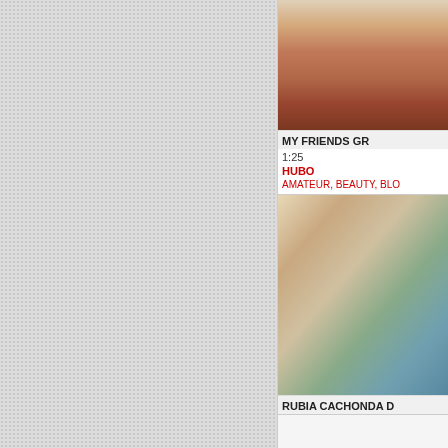[Figure (screenshot): Textured light gray background area taking up the left portion of the page]
[Figure (photo): Video thumbnail showing hands/skin close-up, warm tones]
MY FRIENDS GR
1:25
HUBO
AMATEUR, BEAUTY, BLO
[Figure (photo): Video thumbnail showing a blonde woman in a green shirt smiling, with blue background]
RUBIA CACHONDA D